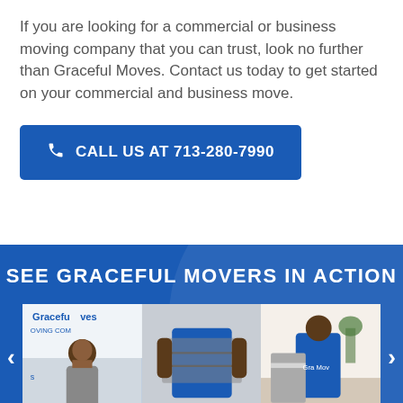If you are looking for a commercial or business moving company that you can trust, look no further than Graceful Moves. Contact us today to get started on your commercial and business move.
CALL US AT 713-280-7990
SEE GRACEFUL MOVERS IN ACTION
[Figure (photo): Three photos of Graceful Movers staff: a man in a gray polo shirt in front of the Graceful Moves company banner, a mover in a blue shirt carrying wrapped furniture, and a mover in a blue shirt wrapping furniture.]